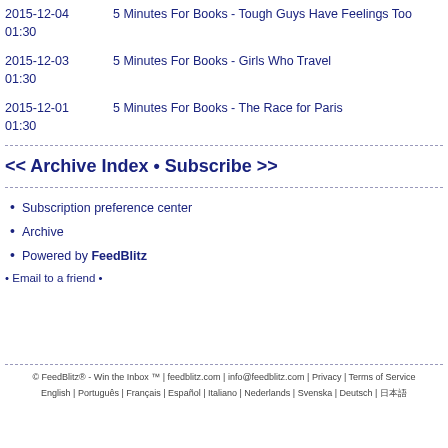2015-12-04 01:30 — 5 Minutes For Books - Tough Guys Have Feelings Too
2015-12-03 01:30 — 5 Minutes For Books - Girls Who Travel
2015-12-01 01:30 — 5 Minutes For Books - The Race for Paris
<< Archive Index • Subscribe >>
Subscription preference center
Archive
Powered by FeedBlitz
• Email to a friend •
© FeedBlitz® - Win the Inbox ™ | feedblitz.com | info@feedblitz.com | Privacy | Terms of Service English | Português | Français | Español | Italiano | Nederlands | Svenska | Deutsch | 日本語